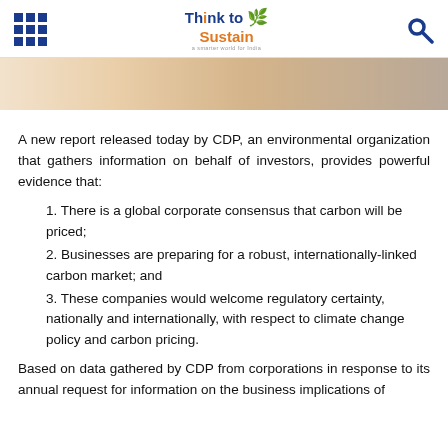Think to Sustain — navigation header with logo and search icon
[Figure (photo): Partial hero image showing a blurred background with warm tones]
A new report released today by CDP, an environmental organization that gathers information on behalf of investors, provides powerful evidence that:
1. There is a global corporate consensus that carbon will be priced;
2. Businesses are preparing for a robust, internationally-linked carbon market; and
3. These companies would welcome regulatory certainty, nationally and internationally, with respect to climate change policy and carbon pricing.
Based on data gathered by CDP from corporations in response to its annual request for information on the business implications of